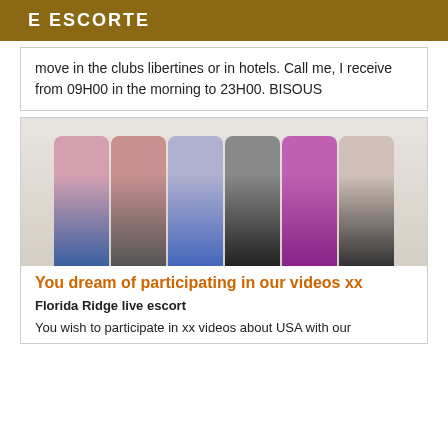E ESCORTE
move in the clubs libertines or in hotels. Call me, I receive from 09H00 in the morning to 23H00. BISOUS
[Figure (photo): Photo of six women in swimwear/bikinis standing in a row against a white background]
You dream of participating in our videos xx
Florida Ridge live escort
You wish to participate in xx videos about USA with our